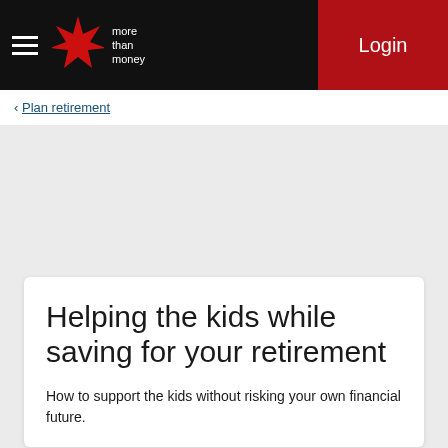more than money | Login
< Plan retirement
Helping the kids while saving for your retirement
How to support the kids without risking your own financial future.